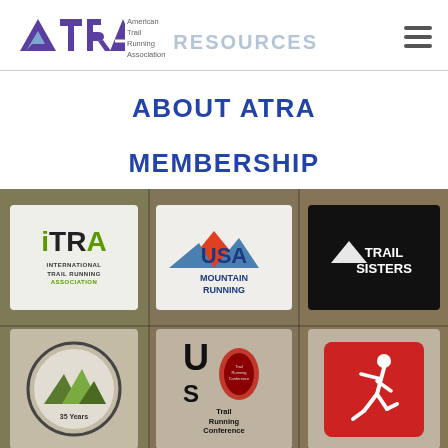[Figure (logo): ATRA American Trail Running Association logo with mountain/letter design in purple and blue]
RESOURCES
ABOUT ATRA
MEMBERSHIP
[Figure (photo): Grid of trail running organization logos on a rocky trail background: iTRA (International Trail Running Association), USA Mountain Running, Trail Sisters, plus partial logos for US Mountain Running Association, Trail Running Conference, and a runner icon]
iTRA INTERNATIONAL TRAIL RUNNING ASSOCIATION | USA MOUNTAIN RUNNING | TRAIL SISTERS